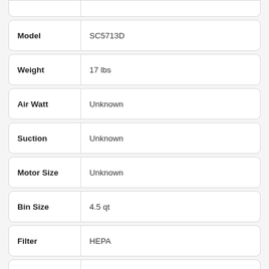| Attribute | Value |
| --- | --- |
| Model | SC5713D |
| Weight | 17 lbs |
| Air Watt | Unknown |
| Suction | Unknown |
| Motor Size | Unknown |
| Bin Size | 4.5 qt |
| Filter | HEPA |
| Floor Types | Carpet Only |
| Anti Tangle |  |